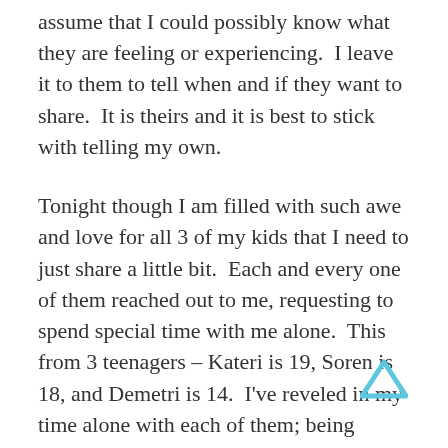assume that I could possibly know what they are feeling or experiencing.  I leave it to them to tell when and if they want to share.  It is theirs and it is best to stick with telling my own.
Tonight though I am filled with such awe and love for all 3 of my kids that I need to just share a little bit.  Each and every one of them reached out to me, requesting to spend special time with me alone.  This from 3 teenagers – Kateri is 19, Soren is 18, and Demetri is 14.  I've reveled in my time alone with each of them; being together, sharing stories, memories and ideas, making food, eating food, talking, laughing, dreaming, and helping each believe a little bit more in ourselves.  Joy, just pure joy having these special moments with each of them, per their request!